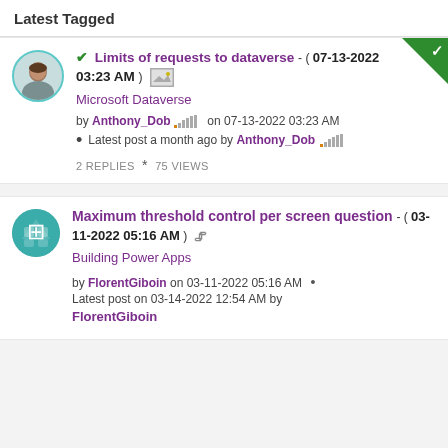Latest Tagged
Limits of requests to dataverse - ( 07-13-2022 03:23 AM ) [image icon] Microsoft Dataverse by Anthony_Dob on 07-13-2022 03:23 AM • Latest post a month ago by Anthony_Dob 2 REPLIES * 75 VIEWS
Maximum threshold control per screen question - ( 03-11-2022 05:16 AM ) [clip icon] Building Power Apps by FlorentGiboin on 03-11-2022 05:16 AM • Latest post on 03-14-2022 12:54 AM by FlorentGiboin